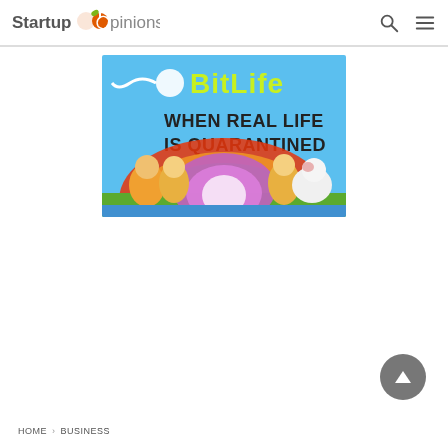StartupOpinions
[Figure (illustration): BitLife game promotional image showing colorful cartoon characters under a colorful arch/rainbow with text 'BitLife - When Real Life Is Quarantined' on a blue sky background with a sperm cell graphic.]
HOME > BUSINESS